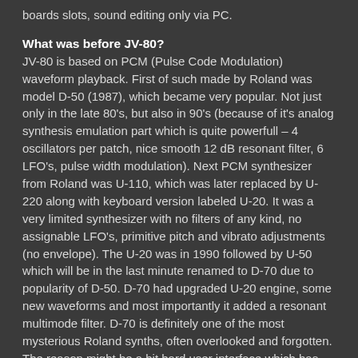boards slots, sound editing only via PC.
What was before JV-80?
JV-80 is based on PCM (Pulse Code Modulation) waveform playback. First of such made by Roland was model D-50 (1987), which became very popular. Not just only in the late 80's, but also in 90's (because of it's analog synthesis emulation part which is quite powerfull – 4 oscillators per patch, nice smooth 12 dB resonant filter, 6 LFO's, pulse width modulation). Next PCM synthesizer from Roland was U-110, which was later replaced by U-220 along with keyboard version labeled U-20. It was a very limited synthesizer with no filters of any kind, no assignable LFO's, primitive pitch and vibrato adjustments (no envelope). The U-20 was in 1990 followed by U-50 which will be in the last minute renamed to D-70 due to popularity of D-50. D-70 had upgraded U-20 engine, some new waveforms and most importantly it added a resonant multimode filter. D-70 is definitely one of the most mysterious Roland synths, often overlooked and forgotten. The reason might be a bit hard user interface which has some impractical solutions that can make your life harder rather than easier. In parallel to D-70, Roland put out MV-30 which is very similar engine with added MC-50 sequencer. Finally in 1991 the JV-80 came out